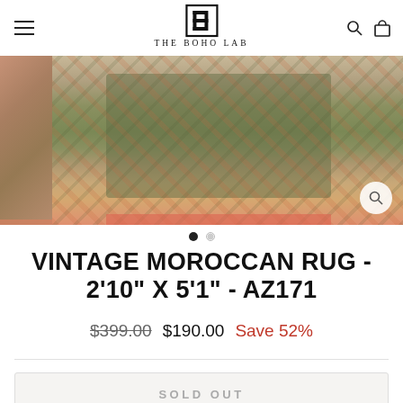THE BOHO LAB
[Figure (photo): Vintage Moroccan rug product photo showing a colorful textured rug with geometric patterns in green, orange, and red/pink tones on a light background. A small thumbnail strip is visible on the left.]
VINTAGE MOROCCAN RUG - 2'10" X 5'1" - AZ171
$399.00  $190.00  Save 52%
SOLD OUT